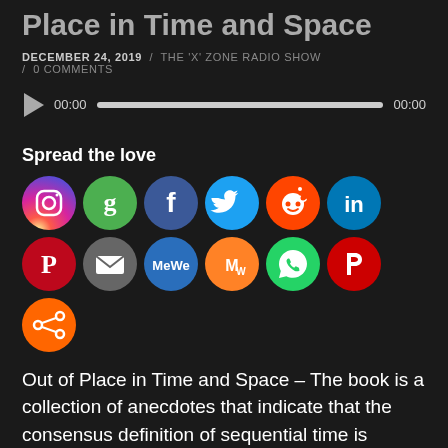Place in Time and Space
DECEMBER 24, 2019   /   THE 'X' ZONE RADIO SHOW   /   0 COMMENTS
[Figure (other): Audio player with play button, progress bar, and time labels showing 00:00 on both ends]
Spread the love
[Figure (infographic): Row of social media icon circles: Instagram, Google, Facebook, Twitter, Reddit, LinkedIn, Pinterest, Email, MeWe, Mix, WhatsApp, Parler, Share]
Out of Place in Time and Space – The book is a collection of anecdotes that indicate that the consensus definition of sequential time is flawed, since there are objects,beliefs, practices, and knowledge that show up well before you?d expect them to. The moons of Mars were described 151 years before they were discovered,